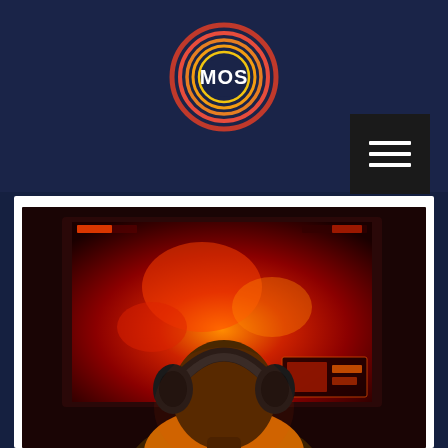[Figure (logo): MOS logo: circular design with red/orange/yellow concentric rings and white MOS text in the center, on dark navy background]
[Figure (other): Hamburger menu button (three horizontal white lines) on black square background]
[Figure (photo): Photo of a person from behind wearing headphones, sitting in front of a large gaming monitor displaying a colorful action game with red/orange/yellow tones]